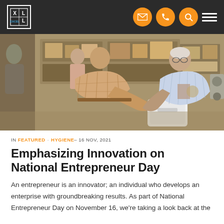Excel XL — Navigation bar with logo, email, phone, search, and menu icons
[Figure (photo): Two men in a warehouse/storage facility exchanging or demonstrating a white hand dryer product. A woman is visible in the background. Shelving with boxes and equipment fills the background.]
IN FEATURED · HYGIENE– 16 NOV, 2021
Emphasizing Innovation on National Entrepreneur Day
An entrepreneur is an innovator; an individual who develops an enterprise with groundbreaking results. As part of National Entrepreneur Day on November 16, we're taking a look back at the